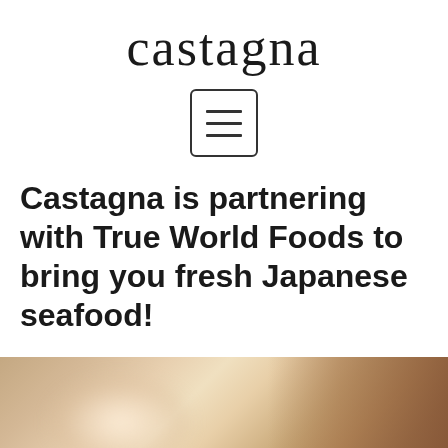castagna
[Figure (other): Hamburger menu icon — three horizontal lines inside a rounded rectangle border]
Castagna is partnering with True World Foods to bring you fresh Japanese seafood!
[Figure (photo): A blurred photo of Japanese seafood, showing warm tan/brown tones with a bright center glow and darker edges suggesting fish or seafood items]